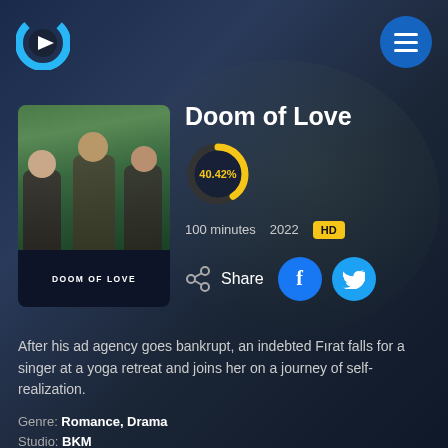[Figure (logo): Streaming service logo - C-shaped cyan/blue logo with play triangle]
[Figure (photo): Movie poster for Doom of Love showing three young people outdoors with green foliage background, title at bottom]
Doom of Love
[Figure (donut-chart): Rating 40.42%]
100 minutes   2022   HD
Share
After his ad agency goes bankrupt, an indebted Fırat falls for a singer at a yoga retreat and joins her on a journey of self-realization.
Genre: Romance, Drama
Studio: BKM